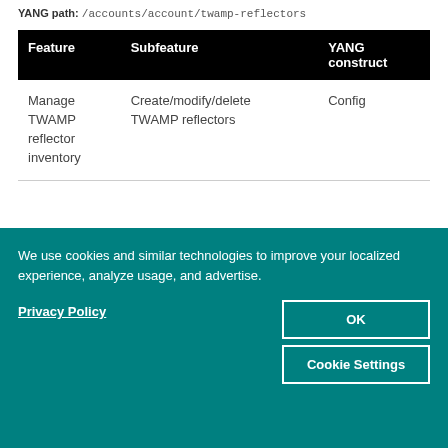YANG path: /accounts/account/twamp-reflectors
| Feature | Subfeature | YANG construct |
| --- | --- | --- |
| Manage TWAMP reflector inventory | Create/modify/delete TWAMP reflectors | Config |
We use cookies and similar technologies to improve your localized experience, analyze usage, and advertise.
Privacy Policy
OK
Cookie Settings